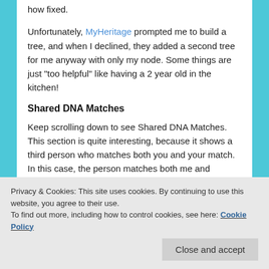how fixed.
Unfortunately, MyHeritage prompted me to build a tree, and when I declined, they added a second tree for me anyway with only my node. Some things are just “too helpful” like having a 2 year old in the kitchen!
Shared DNA Matches
Keep scrolling down to see Shared DNA Matches. This section is quite interesting, because it shows a third person who matches both you and your match. In this case, the person matches both me and Bonnie.
Privacy & Cookies: This site uses cookies. By continuing to use this website, you agree to their use.
To find out more, including how to control cookies, see here: Cookie Policy
Close and accept